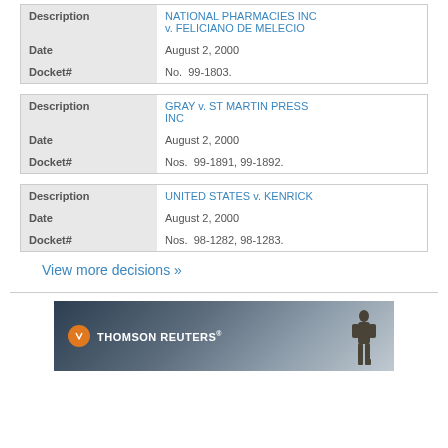| Field | Value |
| --- | --- |
| Description | NATIONAL PHARMACIES INC v. FELICIANO DE MELECIO |
| Date | August 2, 2000 |
| Docket# | No.  99-1803. |
| Field | Value |
| --- | --- |
| Description | GRAY v. ST MARTIN PRESS INC |
| Date | August 2, 2000 |
| Docket# | Nos.  99-1891, 99-1892. |
| Field | Value |
| --- | --- |
| Description | UNITED STATES v. KENRICK |
| Date | August 2, 2000 |
| Docket# | Nos.  98-1282, 98-1283. |
View more decisions »
[Figure (logo): Thomson Reuters advertisement banner with orange circle logo and silhouette of a person against a sunset sky background]